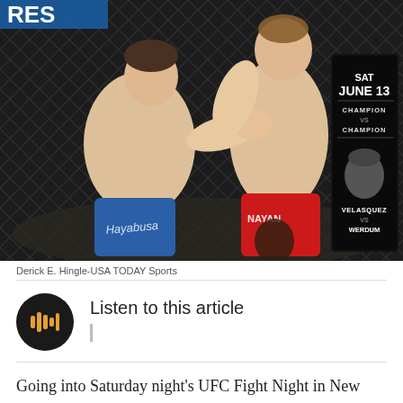[Figure (photo): Two MMA fighters exchanging punches in the UFC octagon. The fighter on the left wears blue shorts with 'Hayabusa' branding; the fighter on the right wears red shorts with 'NAYAN' branding. A promotional banner on the right reads 'SAT JUNE 13 CHAMPION VS CHAMPION VELASQUEZ VS WERDUM'.]
Derick E. Hingle-USA TODAY Sports
Listen to this article
Going into Saturday night's UFC Fight Night in New Orleans, there was talk about how, in this sport that is so